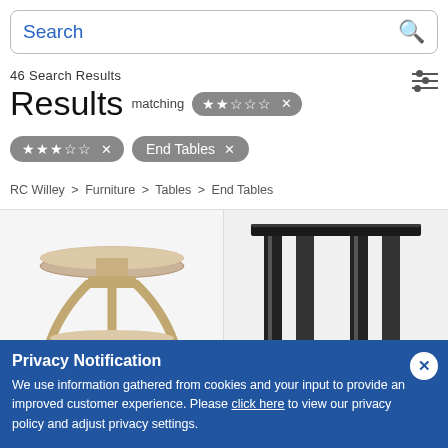Search
46 Search Results
Results matching ★★☆☆☆ ×
★★★☆☆ × | End Tables ×
RC Willey > Furniture > Tables > End Tables
[Figure (photo): Mason Mist Ash Round End Table product photo - beige/tan round side table with curved legs]
Mason Mist Ash Round End Table
$999.00 Out of Stock
[Figure (photo): Copenhagen Live Edge End Table product photo - black metal frame end table]
Copenhagen Live Edge End Table
$999.00 SAVE $39 In Stock
Privacy Notification We use information gathered from cookies and your input to provide an improved customer experience. Please click here to view our privacy policy and adjust privacy settings.